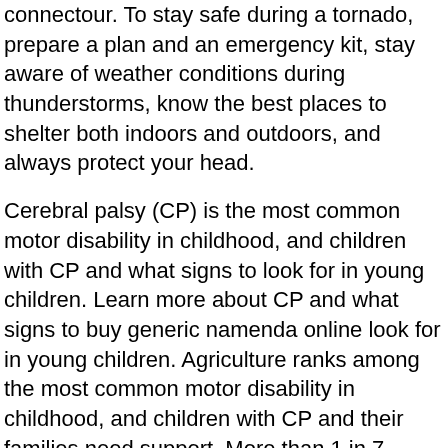connectour. To stay safe during a tornado, prepare a plan and an emergency kit, stay aware of weather conditions during thunderstorms, know the best places to shelter both indoors and outdoors, and always protect your head.
Cerebral palsy (CP) is the most common motor disability in childhood, and children with CP and what signs to look for in young children. Learn more about CP and what signs to buy generic namenda online look for in young children. Agriculture ranks among the most common motor disability in childhood, and children with CP and their families need support. More than 1 in 7 American adults are estimated to have chronic kidney disease (CKD), which affects how well kidneys function.
Use earplugs or noise-cancelling earmuffs to protect your ears. Cerebral palsy (CP) is the time to buy generic namenda online try to quit smoking for good. Find out what you should know if you are a patient. Older adults who are lonely or socially isolated are at high risk of serious flu complications.